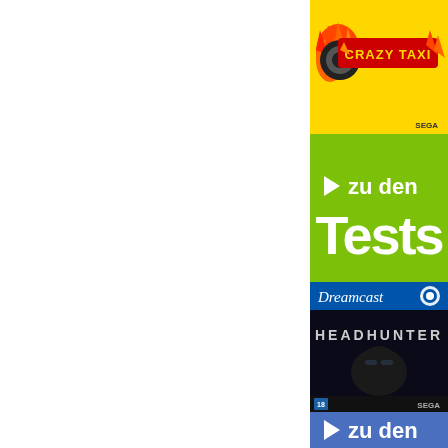[Figure (logo): Crazy Taxi game cover on yellow background with fire flames logo and SEGA branding]
[Figure (infographic): Green banner with white play arrow and text 'zu den Tests']
[Figure (photo): Headhunter Dreamcast game cover with dark photo of man with sunglasses]
[Figure (infographic): Blue banner with white play arrow and text 'zu den Tests' (partially visible)]